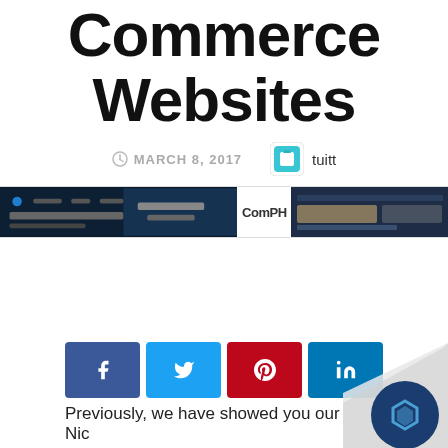Commerce Websites
MARCH 8, 2017  tuitt
[Figure (screenshot): Banner image showing three website screenshots side by side: a dark web design on the left, a ComPH blog in the center, and a fashion/apparel website on the right]
[Figure (infographic): Social share buttons row: Facebook (blue), Twitter (light blue), Pinterest (red), LinkedIn (blue)]
Previously, we have showed you our Nic